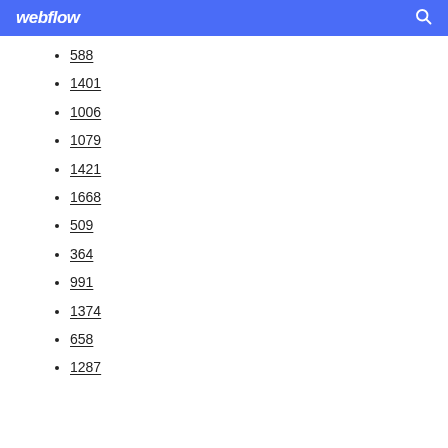webflow
588
1401
1006
1079
1421
1668
509
364
991
1374
658
1287